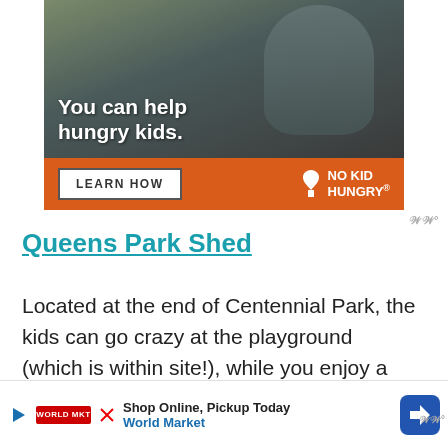[Figure (photo): Advertisement banner for No Kid Hungry showing a child with text 'You can help hungry kids.' and a 'LEARN HOW' button on an orange bar with the No Kid Hungry logo]
Queens Park Shed
Located at the end of Centennial Park, the kids can go crazy at the playground (which is within site!), while you enjoy a break from your busy day.
it b...  to en...  an
[Figure (screenshot): Bottom advertisement banner: 'Shop Online, Pickup Today' for World Market with navigation arrow icon]